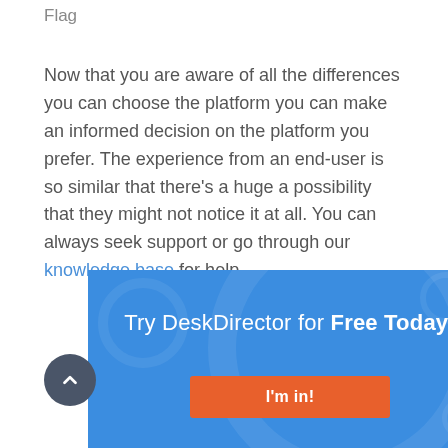Flag
Now that you are aware of all the differences you can choose the platform you can make an informed decision on the platform you prefer. The experience from an end-user is so similar that there's a huge a possibility that they might not notice it at all. You can always seek support or go through our knowledge base for help.
[Figure (other): Blue promotional banner with decorative circles. Text reads 'Try DeskDirector for Free Today!' with an orange 'I'm in!' button. A dark circular scroll-to-top button with an upward chevron is at the bottom left.]